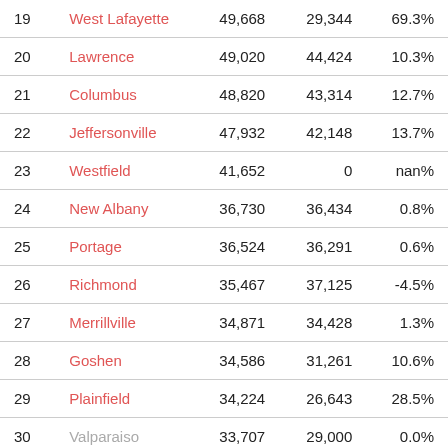|  | City | Population | Prior Pop | Change |
| --- | --- | --- | --- | --- |
| 19 | West Lafayette | 49,668 | 29,344 | 69.3% |
| 20 | Lawrence | 49,020 | 44,424 | 10.3% |
| 21 | Columbus | 48,820 | 43,314 | 12.7% |
| 22 | Jeffersonville | 47,932 | 42,148 | 13.7% |
| 23 | Westfield | 41,652 | 0 | nan% |
| 24 | New Albany | 36,730 | 36,434 | 0.8% |
| 25 | Portage | 36,524 | 36,291 | 0.6% |
| 26 | Richmond | 35,467 | 37,125 | -4.5% |
| 27 | Merrillville | 34,871 | 34,428 | 1.3% |
| 28 | Goshen | 34,586 | 31,261 | 10.6% |
| 29 | Plainfield | 34,224 | 26,643 | 28.5% |
| 30 | Valparaiso | 33,707 | 29,000 | 0.0% |